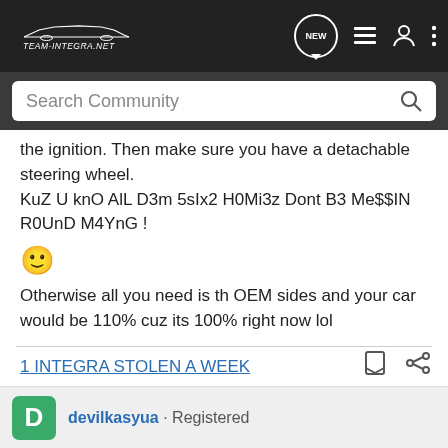Team-Integra.net
the ignition. Then make sure you have a detachable steering wheel.
KuZ U knO AlL D3m 5sIx2 H0Mi3z Dont B3 Me$$IN R0UnD M4YnG !
😊
Otherwise all you need is th OEM sides and your car would be 110% cuz its 100% right now lol
1 INTEGRA STOLEN A WEEK
devilkasyua · Registered